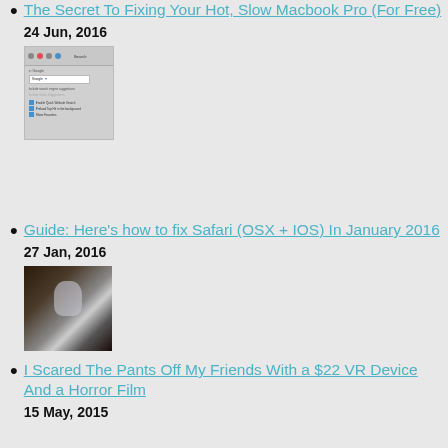The Secret To Fixing Your Hot, Slow Macbook Pro (For Free)
24 Jun, 2016
[Figure (screenshot): Screenshot of Safari browser search preferences panel showing security, privacy, preferences and extensions tabs, with search engine set to Google and checkboxes for search options]
Guide: Here’s how to fix Safari (OSX + IOS) In January 2016
27 Jan, 2016
[Figure (photo): Dark horror-style photo showing a shadowy figure or ghost near a window, black and white tones with dark brown elements]
I Scared The Pants Off My Friends With a $22 VR Device And a Horror Film
15 May, 2015